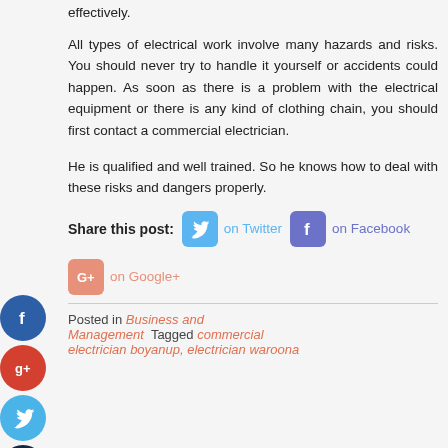effectively.
All types of electrical work involve many hazards and risks. You should never try to handle it yourself or accidents could happen. As soon as there is a problem with the electrical equipment or there is any kind of clothing chain, you should first contact a commercial electrician.
He is qualified and well trained. So he knows how to deal with these risks and dangers properly.
Share this post:  on Twitter   on Facebook   on Google+
Posted in Business and Management  Tagged commercial electrician boyanup, electrician waroona